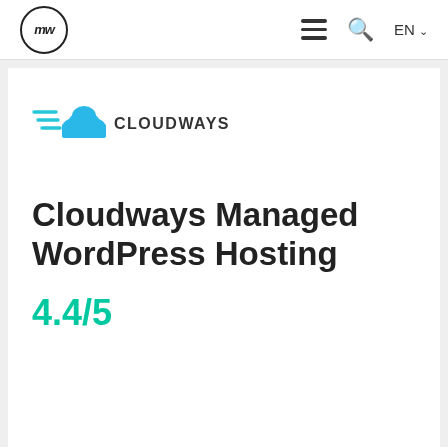MW logo | hamburger menu | search | EN
[Figure (logo): Cloudways logo: blue cloud with speed lines and the text CLOUDWAYS in dark letters]
Cloudways Managed WordPress Hosting
4.4/5